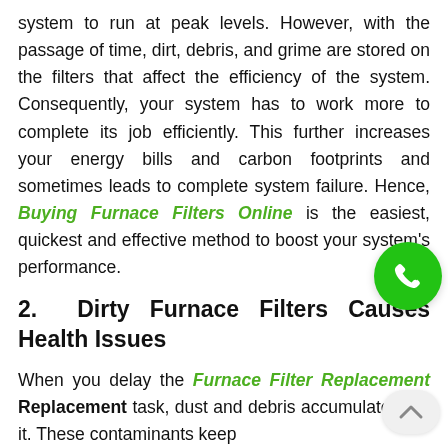system to run at peak levels. However, with the passage of time, dirt, debris, and grime are stored on the filters that affect the efficiency of the system. Consequently, your system has to work more to complete its job efficiently. This further increases your energy bills and carbon footprints and sometimes leads to complete system failure. Hence, Buying Furnace Filters Online is the easiest, quickest and effective method to boost your system's performance.
2. Dirty Furnace Filters Causes Health Issues
When you delay the Furnace Filter Replacement task, dust and debris accumulate over it. These contaminants keep